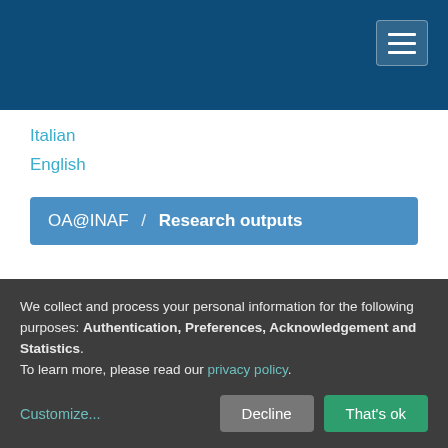OA@INAF header with hamburger menu
Italian
English
OA@INAF / Research outputs
Browsing by Author > Risse, M.
We collect and process your personal information for the following purposes: Authentication, Preferences, Acknowledgement and Statistics. To learn more, please read our privacy policy.
Customize... | Decline | That's ok